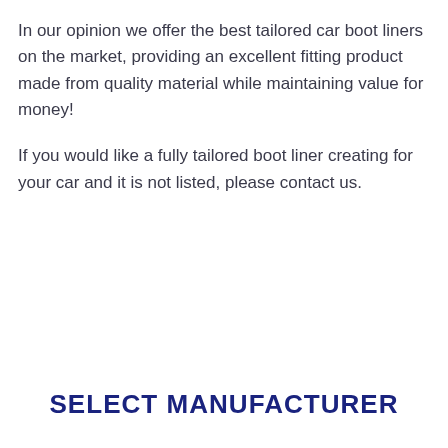In our opinion we offer the best tailored car boot liners on the market, providing an excellent fitting product made from quality material while maintaining value for money!
If you would like a fully tailored boot liner creating for your car and it is not listed, please contact us.
SELECT MANUFACTURER